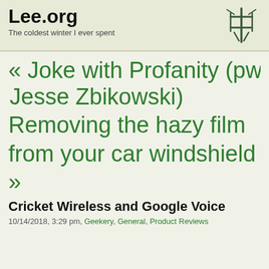Lee.org
The coldest winter I ever spent
« Joke with Profanity (pw Jesse Zbikowski)
Removing the hazy film from your car windshield
»
Cricket Wireless and Google Voice
10/14/2018, 3:29 pm, Geekery, General, Product Reviews